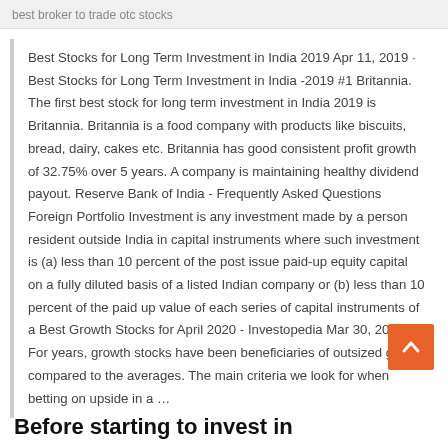best broker to trade otc stocks
Best Stocks for Long Term Investment in India 2019 Apr 11, 2019 · Best Stocks for Long Term Investment in India -2019 #1 Britannia. The first best stock for long term investment in India 2019 is Britannia. Britannia is a food company with products like biscuits, bread, dairy, cakes etc. Britannia has good consistent profit growth of 32.75% over 5 years. A company is maintaining healthy dividend payout. Reserve Bank of India - Frequently Asked Questions Foreign Portfolio Investment is any investment made by a person resident outside India in capital instruments where such investment is (a) less than 10 percent of the post issue paid-up equity capital on a fully diluted basis of a listed Indian company or (b) less than 10 percent of the paid up value of each series of capital instruments of a Best Growth Stocks for April 2020 - Investopedia Mar 30, 2020 · For years, growth stocks have been beneficiaries of outsized gains compared to the averages. The main criteria we look for when betting on upside in a …
Before starting to invest in